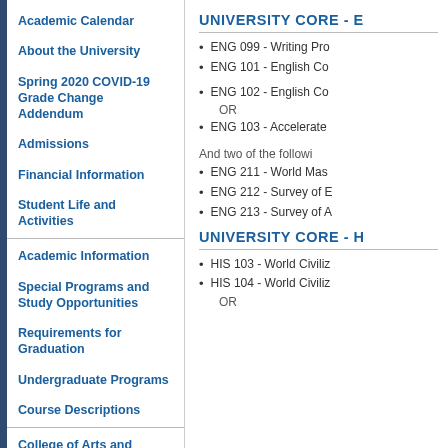Academic Calendar
About the University
Spring 2020 COVID-19 Grade Change Addendum
Admissions
Financial Information
Student Life and Activities
Academic Information
Special Programs and Study Opportunities
Requirements for Graduation
Undergraduate Programs
Course Descriptions
College of Arts and Sciences
UNIVERSITY CORE - E
ENG 099 - Writing Pro
ENG 101 - English Co
ENG 102 - English Co
OR
ENG 103 - Accelerate
And two of the followi
ENG 211 - World Mas
ENG 212 - Survey of E
ENG 213 - Survey of A
UNIVERSITY CORE - H
HIS 103 - World Civiliz
HIS 104 - World Civiliz
OR